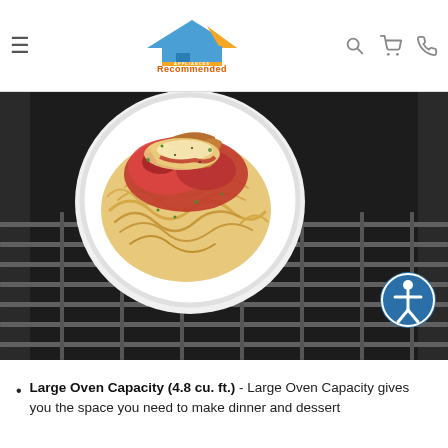Recommended Appliances — navigation header with logo, hamburger menu, search, cart, and phone icons
[Figure (photo): A white plate of spaghetti with chicken parmesan and red tomato sauce, sitting on an oven rack inside a dark oven. An accessibility icon button is visible in the lower right of the image.]
Large Oven Capacity (4.8 cu. ft.) - Large Oven Capacity gives you the space you need to make dinner and dessert